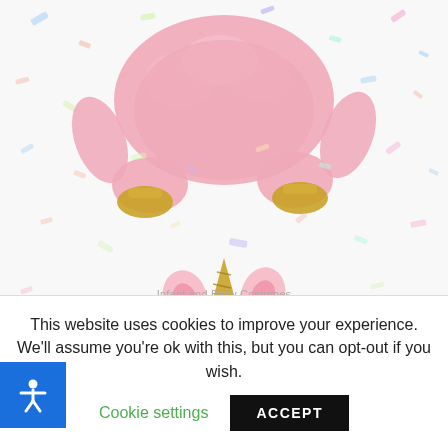[Figure (photo): Baby in pink llama-corn costume lying on a confetti-patterned white background, with gold unicorn horn headband visible at bottom]
Infant and Baby Costumes
Llama-Corn Infant Costume
[Figure (illustration): Blue square accessibility icon button with white person/accessibility symbol]
This website uses cookies to improve your experience. We'll assume you're ok with this, but you can opt-out if you wish.
Cookie settings
ACCEPT